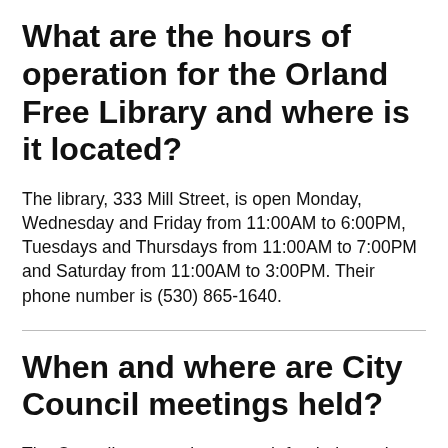What are the hours of operation for the Orland Free Library and where is it located?
The library, 333 Mill Street, is open Monday, Wednesday and Friday from 11:00AM to 6:00PM, Tuesdays and Thursdays from 11:00AM to 7:00PM and Saturday from 11:00AM to 3:00PM. Their phone number is (530) 865-1640.
When and where are City Council meetings held?
The Council meets twice a month for their regular meetings on the first and third Tuesdays at 6:30pm. Their meetings